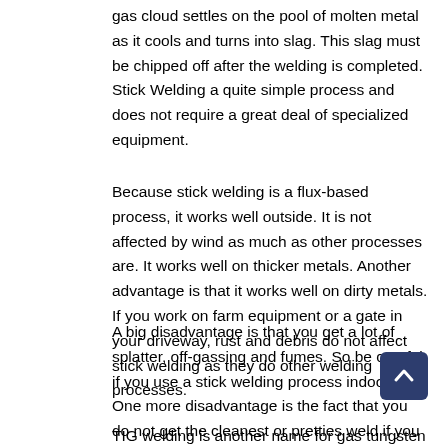gas cloud settles on the pool of molten metal as it cools and turns into slag. This slag must be chipped off after the welding is completed. Stick Welding a quite simple process and does not require a great deal of specialized equipment.
Because stick welding is a flux-based process, it works well outside. It is not affected by wind as much as other processes are. It works well on thicker metals. Another advantage is that it works well on dirty metals. If you work on farm equipment or a gate in your driveway, rust and debris do not affect stick welding as they do other welding processes.
A big disadvantage is that you get a lot of splatter, off-gassing and fumes. So be careful if you use a stick welding process indoors. One more disadvantage is the fact that you do not get the cleanest or pretties weld if you are working, for example, on an auto frame. In this case, you will probably want to use MIG or TIG.
TIG welding is another name for gas tungsten arc welding. The